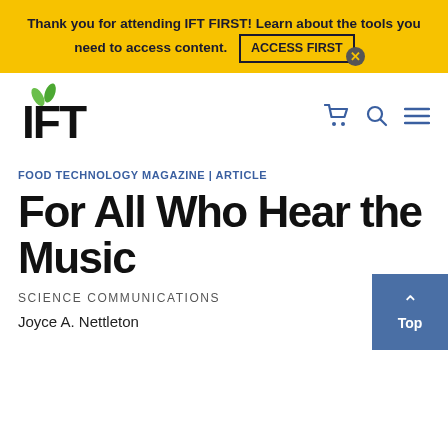Thank you for attending IFT FIRST! Learn about the tools you need to access content. ACCESS FIRST
[Figure (logo): IFT logo with green leaf above the I and F letters]
FOOD TECHNOLOGY MAGAZINE | ARTICLE
For All Who Hear the Music
SCIENCE COMMUNICATIONS
Joyce A. Nettleton